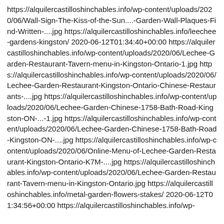https://alquilercastilloshinchables.info/wp-content/uploads/2020/06/Wall-Sign-The-Kiss-of-the-Sun....-Garden-Wall-Plaques-Find-Written-....jpg https://alquilercastilloshinchables.info/leechee-gardens-kingston/ 2020-06-12T01:34:40+00:00 https://alquilercastilloshinchables.info/wp-content/uploads/2020/06/Lechee-Garden-Restaurant-Tavern-menu-in-Kingston-Ontario-1.jpg https://alquilercastilloshinchables.info/wp-content/uploads/2020/06/Lechee-Garden-Restaurant-Kingston-Ontario-Chinese-Restaurants-....jpg https://alquilercastilloshinchables.info/wp-content/uploads/2020/06/Lechee-Garden-Chinese-1758-Bath-Road-Kingston-ON-...-1.jpg https://alquilercastilloshinchables.info/wp-content/uploads/2020/06/Lechee-Garden-Chinese-1758-Bath-Road-Kingston-ON-....jpg https://alquilercastilloshinchables.info/wp-content/uploads/2020/06/Online-Menu-of-Lechee-Garden-Restaurant-Kingston-Ontario-K7M-....jpg https://alquilercastilloshinchables.info/wp-content/uploads/2020/06/Lechee-Garden-Restaurant-Tavern-menu-in-Kingston-Ontario.jpg https://alquilercastilloshinchables.info/metal-garden-flowers-stakes/ 2020-06-12T01:34:56+00:00 https://alquilercastilloshinchables.info/wp-